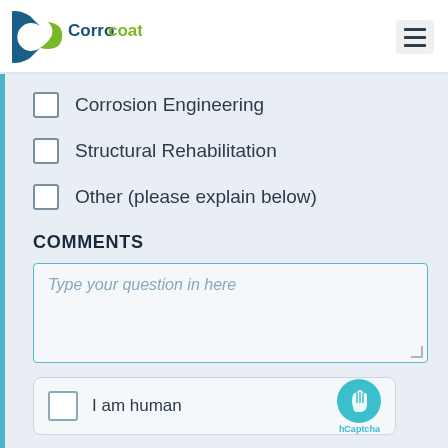[Figure (logo): Corrocoat logo with blue C shape and green leaf, text 'Corrocoat' in dark blue and green]
Corrosion Engineering
Structural Rehabilitation
Other (please explain below)
COMMENTS
Type your question in here
I am human
[Figure (logo): hCaptcha logo - teal circle with hand icon and text hCaptcha]